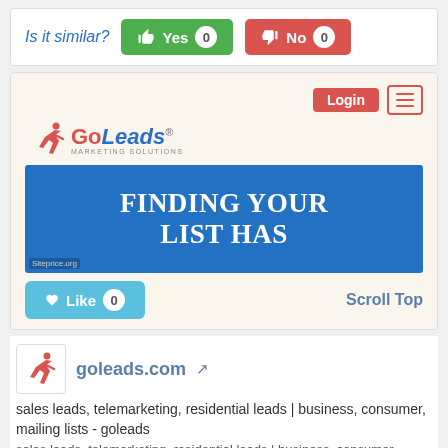Is it similar?  👍 Yes 0    👎 No 0
[Figure (screenshot): GoLeads website screenshot showing Login button, GoLeads Marketing Solutions logo, hamburger menu, blue banner reading FINDING YOUR LIST HAS, Like button with count 0, and Scroll Top link]
goleads.com
sales leads, telemarketing, residential leads | business, consumer, mailing lists - goleads
sales leads, telemarketing, residential leads | business, consumer, mailing lists - goleads